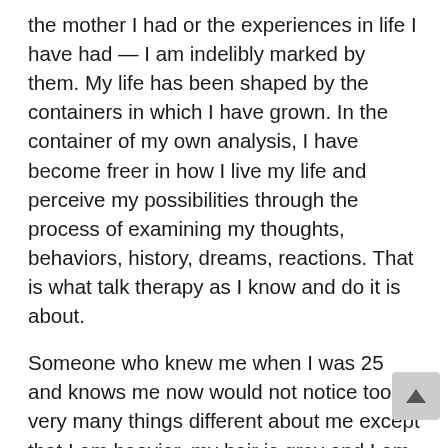the mother I had or the experiences in life I have had — I am indelibly marked by them. My life has been shaped by the containers in which I have grown. In the container of my own analysis, I have become freer in how I live my life and perceive my possibilities through the process of examining my thoughts, behaviors, history, dreams, reactions. That is what talk therapy as I know and do it is about.
Someone who knew me when I was 25 and knows me now would not notice too very many things different about me except that I am heavier, my hair is grey and I am wearing glasses rather than contacts — all external manifestations of age and the life I have lived. Someone who knew me very well then and now might notice that I am calmer, less prone to sarcasm, more contemplative, warmer, maybe more confident. They would recognize my delight in words and willingness to express opinions, that I have a dry sense of humor...